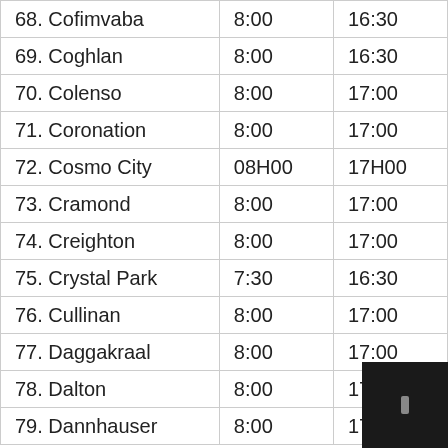| 68.  Cofimvaba | 8:00 | 16:30 |
| 69.  Coghlan | 8:00 | 16:30 |
| 70.  Colenso | 8:00 | 17:00 |
| 71.  Coronation | 8:00 | 17:00 |
| 72.  Cosmo City | 08H00 | 17H00 |
| 73.  Cramond | 8:00 | 17:00 |
| 74.  Creighton | 8:00 | 17:00 |
| 75.  Crystal Park | 7:30 | 16:30 |
| 76.  Cullinan | 8:00 | 17:00 |
| 77.  Daggakraal | 8:00 | 17:00 |
| 78.  Dalton | 8:00 | 17:00 |
| 79.  Dannhauser | 8:00 | 17:00 |